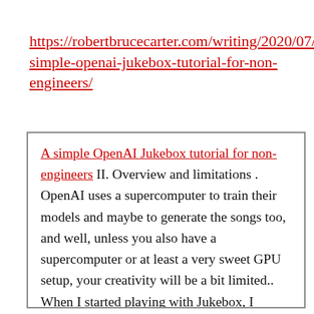https://robertbrucecarter.com/writing/2020/07/simple-openai-jukebox-tutorial-for-non-engineers/
A simple OpenAI Jukebox tutorial for non-engineers II. Overview and limitations . OpenAI uses a supercomputer to train their models and maybe to generate the songs too, and well, unless you also have a supercomputer or at least a very sweet GPU setup, your creativity will be a bit limited.. When I started playing with Jukebox, I